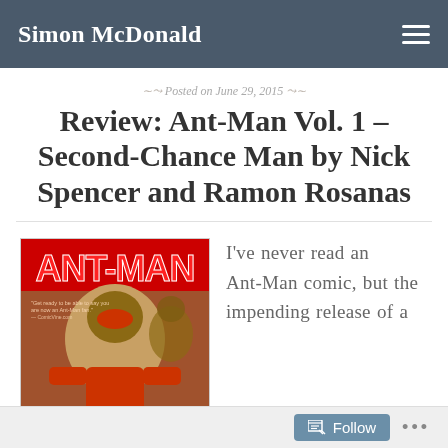Simon McDonald
Posted on June 29, 2015
Review: Ant-Man Vol. 1 – Second-Chance Man by Nick Spencer and Ramon Rosanas
[Figure (illustration): Book cover of Ant-Man Vol. 1 – Second-Chance Man showing comic art of Ant-Man character with red title text ANT-MAN]
I've never read an Ant-Man comic, but the impending release of a
Follow